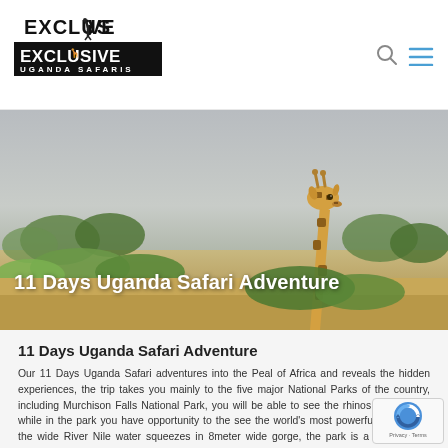Exclusive Uganda Safaris
[Figure (photo): Hero photograph of a giraffe peeking above bushes and trees in an African savanna landscape, with grey sky background]
11 Days Uganda Safari Adventure
11 Days Uganda Safari Adventure
Our 11 Days Uganda Safari adventures into the Peal of Africa and reveals the hidden experiences, the trip takes you mainly to the five major National Parks of the country, including Murchison Falls National Park, you will be able to see the rhinos on the way, while in the park you have opportunity to the see the world's most powerful falls where the wide River Nile water squeezes in 8meter wide gorge, the park is a home to 76 mammal species and 451 bird...